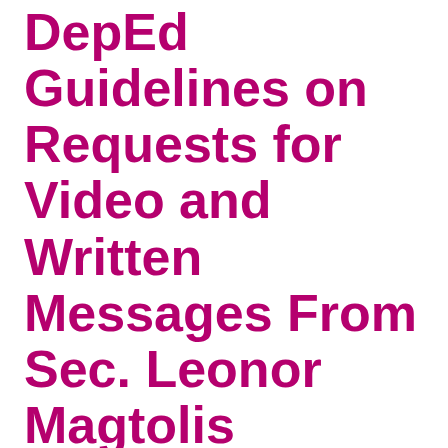DepEd Guidelines on Requests for Video and Written Messages From Sec. Leonor Magtolis Briones
by Mark Anthony Llego
In view of the voluminous requests from field offices, a Memorandum from the Office of the Secretary on guidelines on the requests for video and written messages for various programs and events was released.